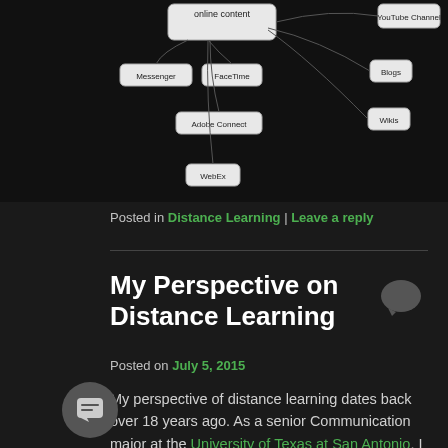[Figure (other): Mind map diagram showing online content tools including YouTube Channel, Blogs, Wikis on the right, and Messenger, FaceTime, Adobe Connect, WebEx on the left, on a dark background]
Posted in Distance Learning | Leave a reply
My Perspective on Distance Learning
Posted on July 5, 2015
My perspective of distance learning dates back over 18 years ago. As a senior Communication major at the University of Texas at San Antonio, I was a student in the first distance learning class at the Downtown university campus in 1997. All of my classes previous to that were at the main campus with books, highlighters and face-to-face